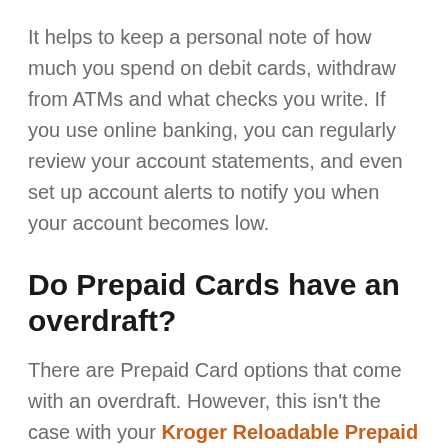It helps to keep a personal note of how much you spend on debit cards, withdraw from ATMs and what checks you write. If you use online banking, you can regularly review your account statements, and even set up account alerts to notify you when your account becomes low.
Do Prepaid Cards have an overdraft?
There are Prepaid Card options that come with an overdraft. However, this isn't the case with your Kroger Reloadable Prepaid Debit Card.
While your Prepaid Card works in the same way